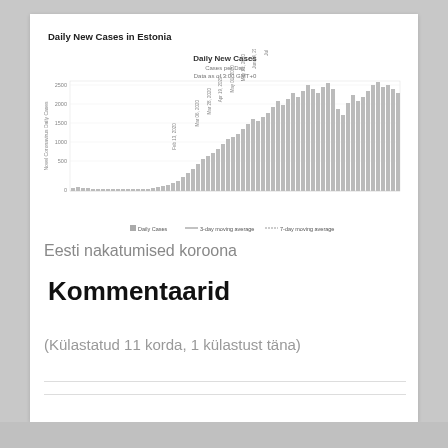Daily New Cases in Estonia
[Figure (bar-chart): Daily New Cases]
Eesti nakatumised koroona
Kommentaarid
(Külastatud 11 korda, 1 külastust täna)